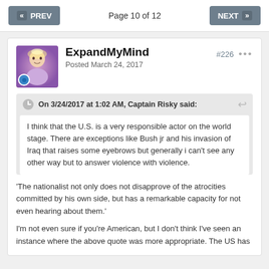PREV | Page 10 of 12 | NEXT
ExpandMyMind
Posted March 24, 2017
#226
On 3/24/2017 at 1:02 AM, Captain Risky said:
I think that the U.S. is a very responsible actor on the world stage. There are exceptions like Bush jr and his invasion of Iraq that raises some eyebrows but generally i can't see any other way but to answer violence with violence.
'The nationalist not only does not disapprove of the atrocities committed by his own side, but has a remarkable capacity for not even hearing about them.'
I'm not even sure if you're American, but I don't think I've seen an instance where the above quote was more appropriate. The US has